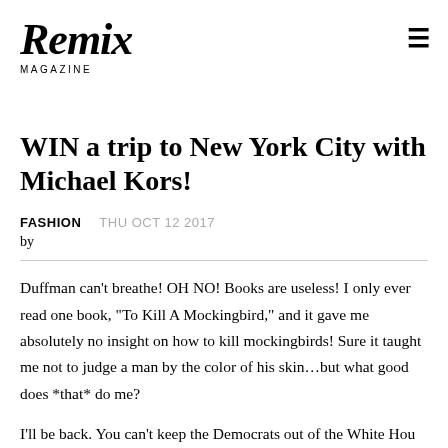Remix MAGAZINE
WIN a trip to New York City with Michael Kors!
FASHION   THU OCT 12 2017
by
Duffman can't breathe! OH NO! Books are useless! I only ever read one book, "To Kill A Mockingbird," and it gave me absolutely no insight on how to kill mockingbirds! Sure it taught me not to judge a man by the color of his skin…but what good does *that* do me?
I'll be back. You can't keep the Democrats out of the White House for ever, and the next time I'll...